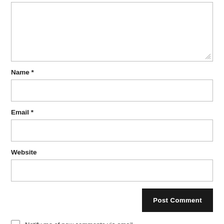[Figure (screenshot): A web comment form showing a textarea (partially visible at top), Name field with asterisk, Email field with asterisk, Website field, Post Comment button, and two checkboxes for email notification options.]
Name *
Email *
Website
Post Comment
Notify me of new comments via email.
Notify me of new posts via email.